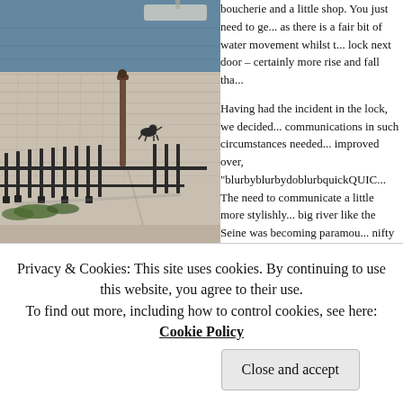[Figure (photo): Cobblestone quay waterfront with black iron railing, lamp post, a cat or dog on the quayside, and blue-grey water in the background. Sunny day with strong shadows.]
boucherie and a little shop. You just need to ge... as there is a fair bit of water movement whilst t... lock next door – certainly more rise and fall tha...
Having had the incident in the lock, we decided... communications in such circumstances needed... improved over, "blurbyblurbydoblurbquickQUIC... The need to communicate a little more stylishly... big river like the Seine was becoming paramou... nifty (but not cheap) head sets and mike comm... from Amazon to be delivered to La Poste at Bra... through two sets of intercoms since we turned t... neither have been very good; time to bite the b... for something hands free and reliable.
The parcel was to be dispatched from within Fr... they made two attempts to deliver at lunchtime... knows France is shut down. Our conversations... senses in India to sort the problem left us in d...
Privacy & Cookies: This site uses cookies. By continuing to use this website, you agree to their use.
To find out more, including how to control cookies, see here: Cookie Policy
Close and accept